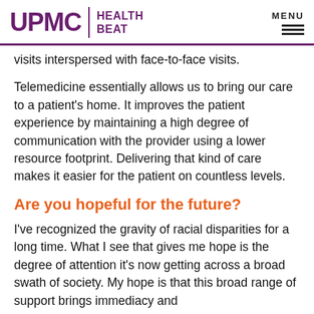UPMC | HEALTH BEAT
visits interspersed with face-to-face visits.
Telemedicine essentially allows us to bring our care to a patient's home. It improves the patient experience by maintaining a high degree of communication with the provider using a lower resource footprint. Delivering that kind of care makes it easier for the patient on countless levels.
Are you hopeful for the future?
I've recognized the gravity of racial disparities for a long time. What I see that gives me hope is the degree of attention it's now getting across a broad swath of society. My hope is that this broad range of support brings immediacy and